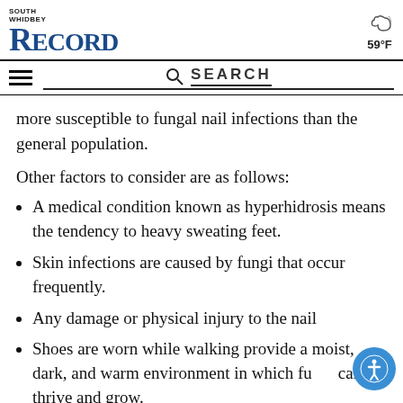SOUTH WHIDBEY RECORD
more susceptible to fungal nail infections than the general population.
Other factors to consider are as follows:
A medical condition known as hyperhidrosis means the tendency to heavy sweating feet.
Skin infections are caused by fungi that occur frequently.
Any damage or physical injury to the nail
Shoes are worn while walking provide a moist, dark, and warm environment in which fu can thrive and grow.